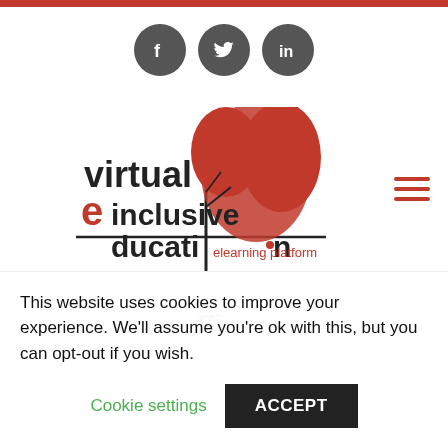[Figure (logo): Virtual inclusive education elearning platform logo with red tree graphic and social media icons (Facebook, Twitter, LinkedIn) and hamburger menu icon]
This website uses cookies to improve your experience. We'll assume you're ok with this, but you can opt-out if you wish.
Cookie settings
ACCEPT